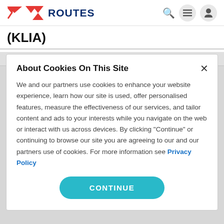ROUTES
(KLIA)
1H '22 Total Passenger Traffic For Malaysia Increases By More
About Cookies On This Site
We and our partners use cookies to enhance your website experience, learn how our site is used, offer personalised features, measure the effectiveness of our services, and tailor content and ads to your interests while you navigate on the web or interact with us across devices. By clicking "Continue" or continuing to browse our site you are agreeing to our and our partners use of cookies. For more information see Privacy Policy
CONTINUE